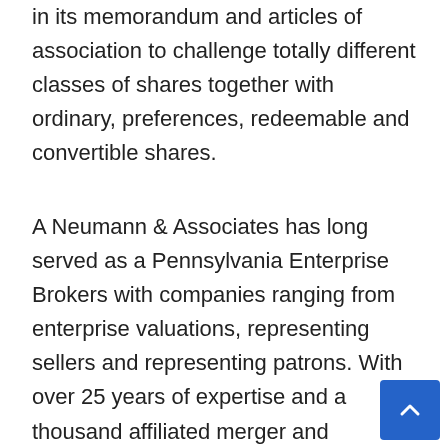in its memorandum and articles of association to challenge totally different classes of shares together with ordinary, preferences, redeemable and convertible shares.
A Neumann & Associates has long served as a Pennsylvania Enterprise Brokers with companies ranging from enterprise valuations, representing sellers and representing patrons. With over 25 years of expertise and a thousand affiliated merger and acquisition professionals, A Neumann and Associates has constructed a strong repute as a reliable firm when consumers and sellers need them the most. Prescreening businesses for you. business Good brokers flip down lots of the companies they're requested to sell, both as a result of the sellor will not present full monetary disclosure